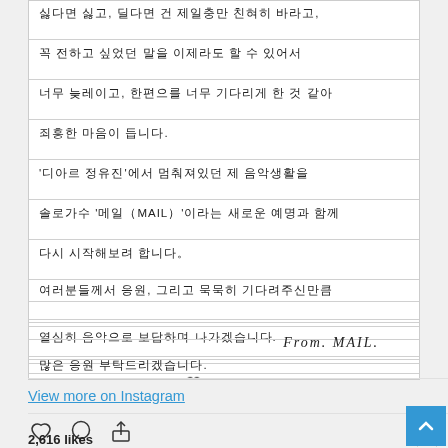[Figure (photo): Handwritten Korean letter on lined paper, ending with 'From. MAIL.' signature. The letter discusses musical activities and gratitude.]
View more on Instagram
2,616 likes